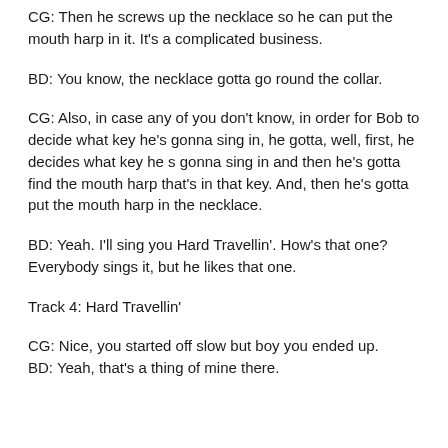CG: Then he screws up the necklace so he can put the mouth harp in it. It’s a complicated business.
BD: You know, the necklace gotta go round the collar.
CG: Also, in case any of you don’t know, in order for Bob to decide what key he’s gonna sing in, he gotta, well, first, he decides what key he s gonna sing in and then he’s gotta find the mouth harp that’s in that key. And, then he’s gotta put the mouth harp in the necklace.
BD: Yeah. I’ll sing you Hard Travellin’. How’s that one? Everybody sings it, but he likes that one.
Track 4: Hard Travellin’
CG: Nice, you started off slow but boy you ended up.
BD: Yeah, that’s a thing of mine there.